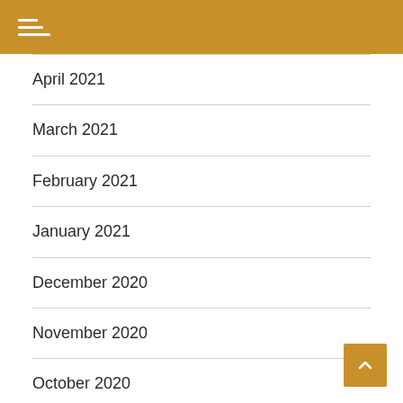Navigation menu header with hamburger icon
April 2021
March 2021
February 2021
January 2021
December 2020
November 2020
October 2020
September 2020